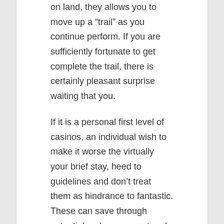on land, they allows you to move up a “trail” as you continue perform. If you are sufficiently fortunate to get complete the trail, there is certainly pleasant surprise waiting that you.
If it is a personal first level of casinos, an individual wish to make it worse the virtually your brief stay, heed to guidelines and don’t treat them as hindrance to fantastic. These can save through potential embarrassment and actually help you appreciate the casino added.
Baseball Sports Betting Online